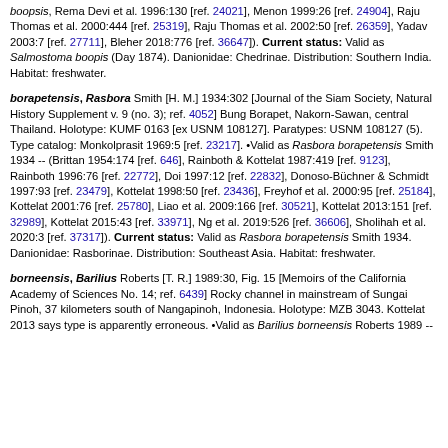boopsis, Rema Devi et al. 1996:130 [ref. 24021], Menon 1999:26 [ref. 24904], Raju Thomas et al. 2000:444 [ref. 25319], Raju Thomas et al. 2002:50 [ref. 26359], Yadav 2003:7 [ref. 27711], Bleher 2018:776 [ref. 36647]). Current status: Valid as Salmostoma boopis (Day 1874). Danionidae: Chedrinae. Distribution: Southern India. Habitat: freshwater.
borapetensis, Rasbora Smith [H. M.] 1934:302 [Journal of the Siam Society, Natural History Supplement v. 9 (no. 3); ref. 4052] Bung Borapet, Nakorn-Sawan, central Thailand. Holotype: KUMF 0163 [ex USNM 108127]. Paratypes: USNM 108127 (5). Type catalog: Monkolprasit 1969:5 [ref. 23217]. •Valid as Rasbora borapetensis Smith 1934 -- (Brittan 1954:174 [ref. 646], Rainboth & Kottelat 1987:419 [ref. 9123], Rainboth 1996:76 [ref. 22772], Doi 1997:12 [ref. 22832], Donoso-Büchner & Schmidt 1997:93 [ref. 23479], Kottelat 1998:50 [ref. 23436], Freyhof et al. 2000:95 [ref. 25184], Kottelat 2001:76 [ref. 25780], Liao et al. 2009:166 [ref. 30521], Kottelat 2013:151 [ref. 32989], Kottelat 2015:43 [ref. 33971], Ng et al. 2019:526 [ref. 36606], Sholihah et al. 2020:3 [ref. 37317]). Current status: Valid as Rasbora borapetensis Smith 1934. Danionidae: Rasborinae. Distribution: Southeast Asia. Habitat: freshwater.
borneensis, Barilius Roberts [T. R.] 1989:30, Fig. 15 [Memoirs of the California Academy of Sciences No. 14; ref. 6439] Rocky channel in mainstream of Sungai Pinoh, 37 kilometers south of Nangapinoh, Indonesia. Holotype: MZB 3043. Kottelat 2013 says type is apparently erroneous. •Valid as Barilius borneensis Roberts 1989 --